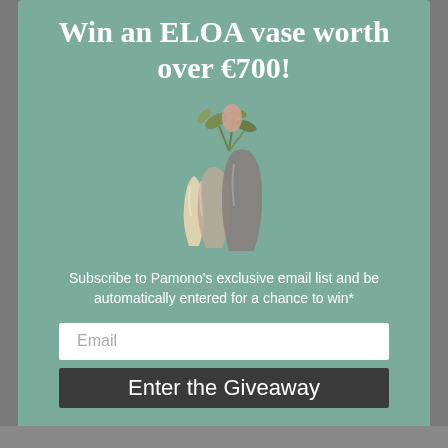Win an ELOA vase worth over €700!
[Figure (illustration): Three decorative ELOA vases of different sizes and translucent colors (cream, taupe, smoky grey) with a plant stem arrangement in the tallest vase, displayed on a teal-green background.]
Subscribe to Pamono's exclusive email list and be automatically entered for a chance to win*
Email
Enter the Giveaway
*Please read our terms and conditions here